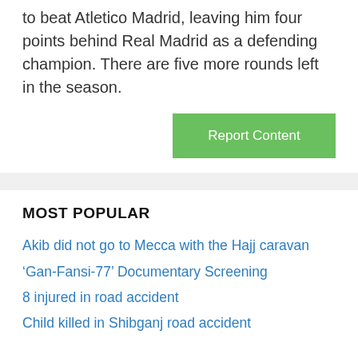to beat Atletico Madrid, leaving him four points behind Real Madrid as a defending champion. There are five more rounds left in the season.
[Figure (other): Green 'Report Content' button aligned to the right]
MOST POPULAR
Akib did not go to Mecca with the Hajj caravan
‘Gan-Fansi-77’ Documentary Screening
8 injured in road accident
Child killed in Shibganj road accident